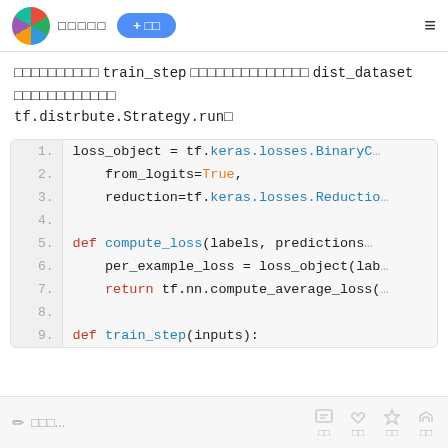□□□□□  + □□  ≡
□□□□□□□□□□ train_step □□□□□□□□□□□□□□ dist_dataset □□□□□□□□□□□□ tf.distrbute.Strategy.run□
[Figure (screenshot): Code block showing Python code lines 1-9: loss_object = tf.keras.losses.BinaryC..., from_logits=True, reduction=tf.keras.losses.Reductio..., def compute_loss(labels, predictions..., per_example_loss = loss_object(lab..., return tf.nn.compute_average_loss(..., def train_step(inputs):]
✏ □□□...  □ □□   □ □□   ☆ □□   ↗ □□